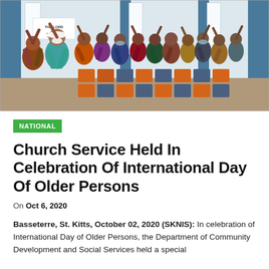[Figure (photo): Indoor church/hall scene with a large group of people standing with hands raised during a worship service. Orange and blue chairs are visible, and a banner reading 'THE LORD' is on the wall. Many attendees are wearing masks.]
NATIONAL
Church Service Held In Celebration Of International Day Of Older Persons
On Oct 6, 2020
Basseterre, St. Kitts, October 02, 2020 (SKNIS): In celebration of International Day of Older Persons, the Department of Community Development and Social Services held a special